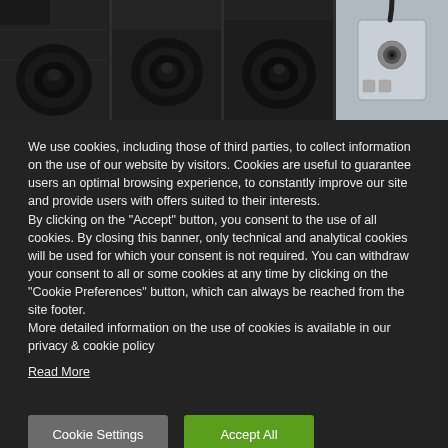[Figure (photo): Four panel image strip showing ceiling-mounted camera/sensor equipment in dark tones. Three left panels show circular ceiling-mount devices from below against dark ceiling. Fourth panel shows a standalone device with cable against light background.]
We use cookies, including those of third parties, to collect information on the use of our website by visitors. Cookies are useful to guarantee users an optimal browsing experience, to constantly improve our site and provide users with offers suited to their interests.
By clicking on the "Accept" button, you consent to the use of all cookies. By closing this banner, only technical and analytical cookies will be used for which your consent is not required. You can withdraw your consent to all or some cookies at any time by clicking on the "Cookie Preferences" button, which can always be reached from the site footer.
More detailed information on the use of cookies is available in our privacy & cookie policy
Read More
Cookie Settings
Accept All